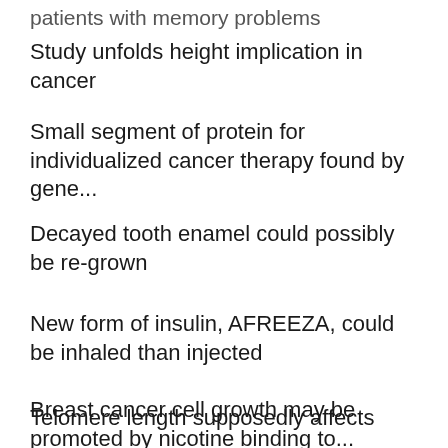patients with memory problems
Study unfolds height implication in cancer
Small segment of protein for individualized cancer therapy found by gene...
Decayed tooth enamel could possibly be re-grown
New form of insulin, AFREEZA, could be inhaled than injected
Breast cancer cell growth may be promoted by nicotine binding to...
Telomere length supposedly affects